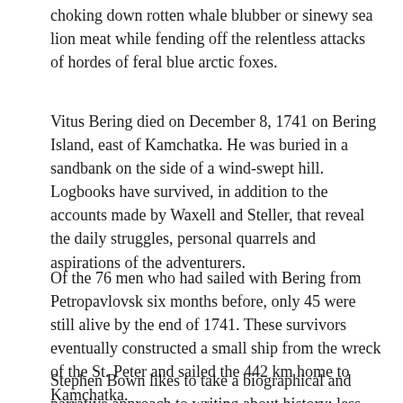choking down rotten whale blubber or sinewy sea lion meat while fending off the relentless attacks of hordes of feral blue arctic foxes.
Vitus Bering died on December 8, 1741 on Bering Island, east of Kamchatka. He was buried in a sandbank on the side of a wind-swept hill. Logbooks have survived, in addition to the accounts made by Waxell and Steller, that reveal the daily struggles, personal quarrels and aspirations of the adventurers.
Of the 76 men who had sailed with Bering from Petropavlovsk six months before, only 45 were still alive by the end of 1741. These survivors eventually constructed a small ship from the wreck of the St. Peter and sailed the 442 km home to Kamchatka.
Stephen Bown likes to take a biographical and narrative approach to writing about history; less interested in statistics than in the lives of the people involved.
[Figure (photo): A grey-toned photograph of a rugged, rocky or sandy landscape, partially visible at the bottom of the page.]